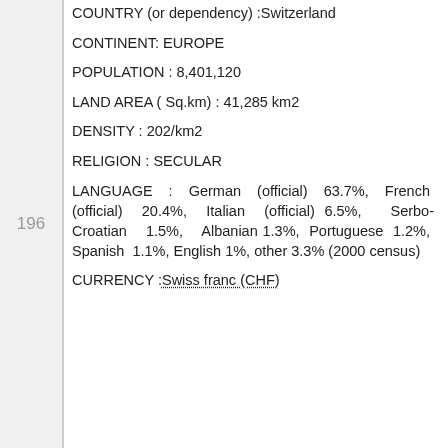196
COUNTRY (or dependency) :Switzerland
CONTINENT: EUROPE
POPULATION : 8,401,120
LAND AREA ( Sq.km) : 41,285 km2
DENSITY : 202/km2
RELIGION : SECULAR
LANGUAGE : German (official) 63.7%, French (official) 20.4%, Italian (official) 6.5%, Serbo-Croatian 1.5%, Albanian 1.3%, Portuguese 1.2%, Spanish 1.1%, English 1%, other 3.3% (2000 census)
CURRENCY :Swiss franc (CHF)